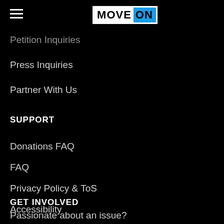MoveOn
Petition Inquiries
Press Inquiries
Partner With Us
SUPPORT
Donations FAQ
FAQ
Privacy Policy & ToS
Accessibility
GET INVOLVED
Passionate about an issue?